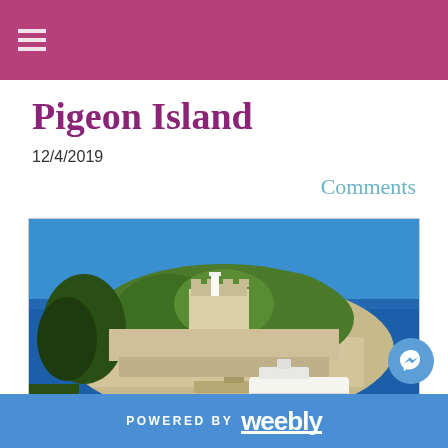Pigeon Island
12/4/2019
Comments
[Figure (photo): Aerial photo of Pigeon Island showing a small island with stone fortress walls, green trees, and a dock with a white boat in blue water]
POWERED BY weebly